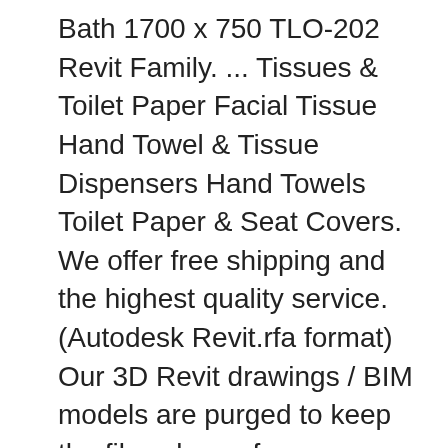Bath 1700 x 750 TLO-202 Revit Family. ... Tissues & Toilet Paper Facial Tissue Hand Towel & Tissue Dispensers Hand Towels Toilet Paper & Seat Covers. We offer free shipping and the highest quality service. (Autodesk Revit.rfa format) Our 3D Revit drawings / BIM models are purged to keep the files clean of any unwanted layers. Made of various types of wood, this collection showcases small dining ware and serve ware collectibles that add a rustic charm to your dining experience. The easy to use design includes a low level indicator so it is evident when it's time to add more towels. Inventors: Sigmund, Jerry A. Soap Dispenser Wall Mounted Revit Family. This DWG Block can be used for European Style Smart H Download this FREE Revit Family and 3D CAD models of a PAPER TOWEL DISPENSER.This revit object can be used in your bathroom furniture revit models. More Info > Toilet Partitions Quotes. Add to Wishlist. Whether your priority